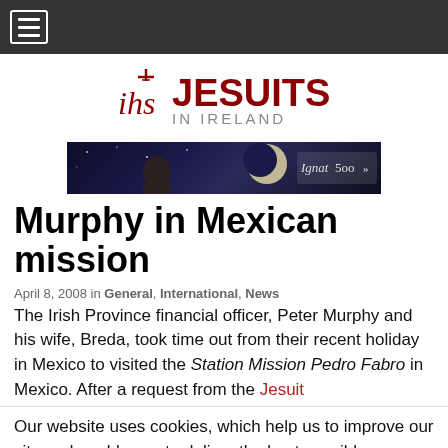Navigation bar with hamburger menu
[Figure (logo): IHS Jesuits in Ireland logo with cross symbol, red text JESUITS IN IRELAND]
[Figure (photo): Banner image showing a person looking at a moon on a dark blue night sky background, with 'Ignatios' text on right]
Murphy in Mexican mission
April 8, 2008 in General, International, News
The Irish Province financial officer, Peter Murphy and his wife, Breda, took time out from their recent holiday in Mexico to visited the Station Mission Pedro Fabro in Mexico. After a request from the Jesuit
Our website uses cookies, which help us to improve our site and enables us to deliver the best possible browsing experience.
Accept  Read More